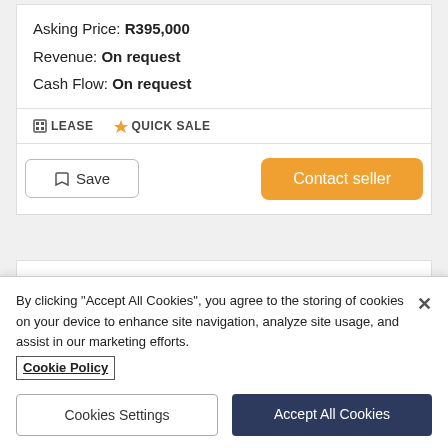Asking Price: R395,000
Revenue: On request
Cash Flow: On request
LEASE   QUICK SALE
Save
Contact seller
Prime Fast Food Franchised Diner In Mall Reds
By clicking “Accept All Cookies”, you agree to the storing of cookies on your device to enhance site navigation, analyze site usage, and assist in our marketing efforts.
Cookie Policy
Cookies Settings
Accept All Cookies